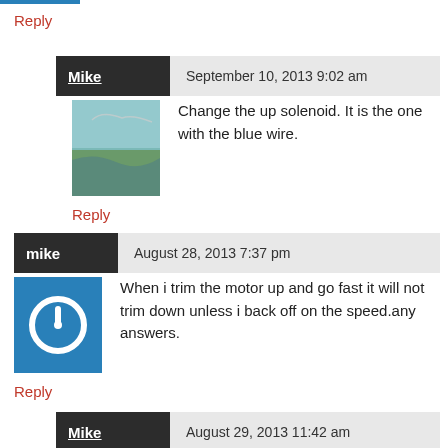Reply
Mike — September 10, 2013 9:02 am
Change the up solenoid. It is the one with the blue wire.
Reply
mike — August 28, 2013 7:37 pm
When i trim the motor up and go fast it will not trim down unless i back off on the speed.any answers.
Reply
Mike — August 29, 2013 11:42 am